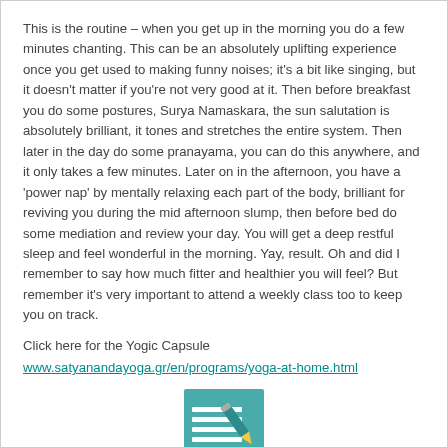This is the routine – when you get up in the morning you do a few minutes chanting. This can be an absolutely uplifting experience once you get used to making funny noises; it's a bit like singing, but it doesn't matter if you're not very good at it. Then before breakfast you do some postures, Surya Namaskara, the sun salutation is absolutely brilliant, it tones and stretches the entire system. Then later in the day do some pranayama, you can do this anywhere, and it only takes a few minutes. Later on in the afternoon, you have a 'power nap' by mentally relaxing each part of the body, brilliant for reviving you during the mid afternoon slump, then before bed do some mediation and review your day. You will get a deep restful sleep and feel wonderful in the morning. Yay, result. Oh and did I remember to say how much fitter and healthier you will feel? But remember it's very important to attend a weekly class too to keep you on track.
Click here for the Yogic Capsule
www.satyanandayoga.gr/en/programs/yoga-at-home.html
[Figure (illustration): A teal/green square icon showing horizontal lines (like a notepad) with a pencil drawn diagonally across it.]
Written by Sandy Hector BSc(Hons) Psychology, Registered Hypnotherapist